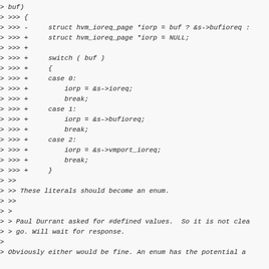> buf)
> >>> {
> >>> -     struct hvm_ioreq_page *iorp = buf ? &s->bufioreq :
> >>> +     struct hvm_ioreq_page *iorp = NULL;
> >>> +
> >>> +     switch ( buf )
> >>> +     {
> >>> +     case 0:
> >>> +         iorp = &s->ioreq;
> >>> +         break;
> >>> +     case 1:
> >>> +         iorp = &s->bufioreq;
> >>> +         break;
> >>> +     case 2:
> >>> +         iorp = &s->vmport_ioreq;
> >>> +         break;
> >>> +     }
> >>
> >> These literals should become an enum.
> >>
> >
> > Paul Durrant asked for #defined values.  So it is not clea
> > go. Will wait for response.
>
> Obviously either would be fine. An enum has the potential a